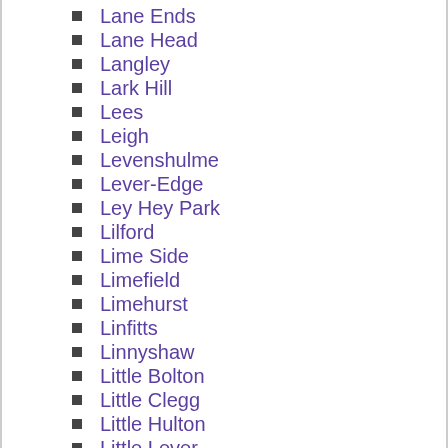Lane Ends
Lane Head
Langley
Lark Hill
Lees
Leigh
Levenshulme
Lever-Edge
Ley Hey Park
Lilford
Lime Side
Limefield
Limehurst
Linfitts
Linnyshaw
Little Bolton
Little Clegg
Little Hulton
Little Lever